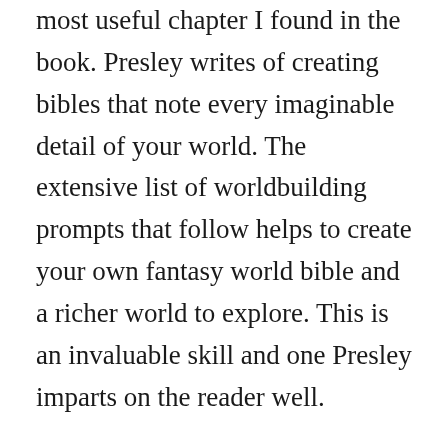most useful chapter I found in the book. Presley writes of creating bibles that note every imaginable detail of your world. The extensive list of worldbuilding prompts that follow helps to create your own fantasy world bible and a richer world to explore. This is an invaluable skill and one Presley imparts on the reader well.
Fantasy Worldbuilding Workbook will help you to create a more interesting and diverse world in your writing and storytelling, without question. It’s not something you’ll read by the pool on holiday but fans will certainly find an